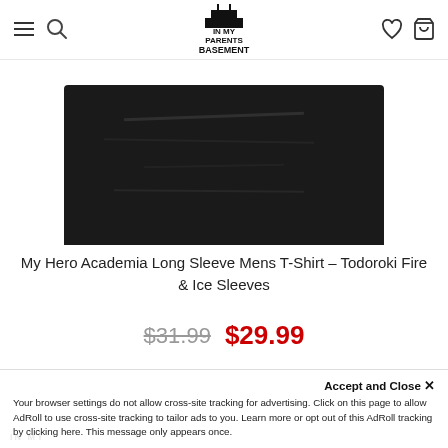In My Parents Basement — navigation header with hamburger menu, search, wishlist, and cart icons
[Figure (photo): Product photo showing a black long-sleeve t-shirt (partial view, top portion cropped) against white background]
My Hero Academia Long Sleeve Mens T-Shirt – Todoroki Fire & Ice Sleeves
$31.99  $29.99
Accept and Close ×
Your browser settings do not allow cross-site tracking for advertising. Click on this page to allow AdRoll to use cross-site tracking to tailor ads to you. Learn more or opt out of this AdRoll tracking by clicking here. This message only appears once.